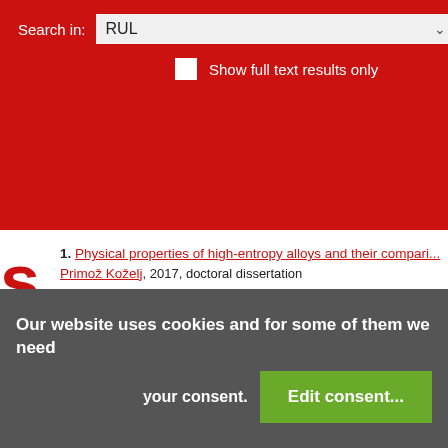Search in: RUL
Show full text results only
1. Physical properties of high-entropy alloys and their compari... Primož Koželj, 2017, doctoral dissertation
Keywords: high-entropy alloys, superconductivity, complex m... approximants, geometrically frustrated magnetism
Our website uses cookies and for some of them we need your consent. Edit consent...